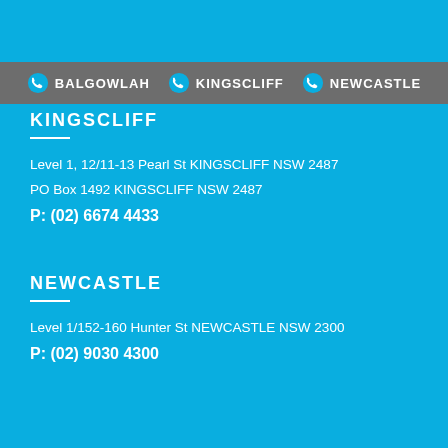BALGOWLAH   KINGSCLIFF   NEWCASTLE
KINGSCLIFF
Level 1, 12/11-13 Pearl St KINGSCLIFF NSW 2487
PO Box 1492 KINGSCLIFF NSW 2487
P: (02) 6674 4433
NEWCASTLE
Level 1/152-160 Hunter St NEWCASTLE NSW 2300
P: (02) 9030 4300